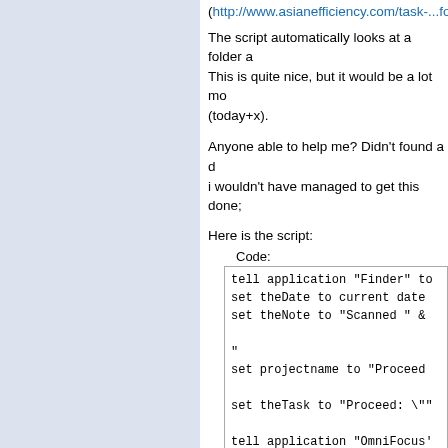(http://www.asianefficiency.com/task-...foc
The script automatically looks at a folder a This is quite nice, but it would be a lot mo (today+x).
Anyone able to help me? Didn't found a d i wouldn't have managed to get this done;
Here is the script:
Code:
tell application "Finder" to
set theDate to current date
set theNote to "Scanned " &
"
set projectname to "Proceed

set theTask to "Proceed: \"

tell application "OmniFocus'
        set task_title to th
        tell default documen
                set newTask
                set theProje
                set note of
                tell the not
                        make

                end tell